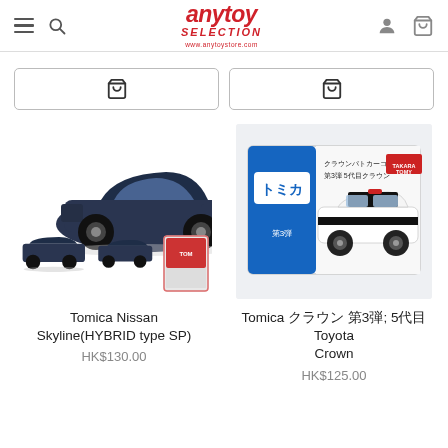AnyToy Selection - www.anytoystore.com
[Figure (screenshot): Two add-to-cart buttons side by side]
[Figure (photo): Tomica Nissan Skyline HYBRID type SP die-cast model car, dark navy blue, shown from multiple angles with box]
Tomica Nissan Skyline(HYBRID type SP)
HK$130.00
[Figure (photo): Tomica Crown Patrol Car Collection No.3 5th generation Toyota Crown, white and black police car in blue box packaging]
Tomica クラウンパトカー 第3弾 5代目 Toyota Crown
HK$125.00